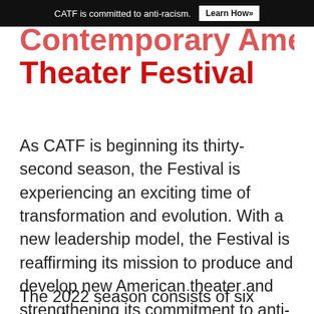CATF is committed to anti-racism. Learn How»
Contemporary American Theater Festival
As CATF is beginning its thirty-second season, the Festival is experiencing an exciting time of transformation and evolution. With a new leadership model, the Festival is reaffirming its mission to produce and develop new American theater and strengthening its commitment to anti-racism and anti-oppression (ARAO).
The 2022 season consists of six plays in